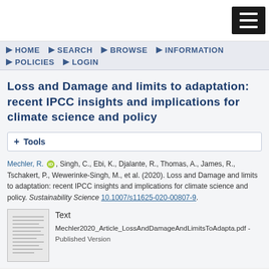[Figure (screenshot): Hamburger menu icon (three white lines on black background) in top-right corner of webpage]
HOME  SEARCH  BROWSE  INFORMATION  POLICIES  LOGIN
Loss and Damage and limits to adaptation: recent IPCC insights and implications for climate science and policy
+ Tools
Mechler, R. [ORCID], Singh, C., Ebi, K., Djalante, R., Thomas, A., James, R., Tschakert, P., Wewerinke-Singh, M., et al. (2020). Loss and Damage and limits to adaptation: recent IPCC insights and implications for climate science and policy. Sustainability Science 10.1007/s11625-020-00807-9.
Text
Mechler2020_Article_LossAndDamageAndLimitsToAdapta.pdf - Published Version